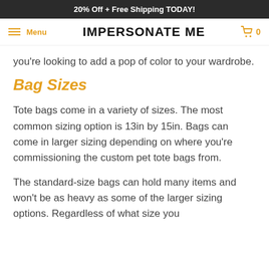20% Off + Free Shipping TODAY!
Menu   IMPERSONATE ME   0
you're looking to add a pop of color to your wardrobe.
Bag Sizes
Tote bags come in a variety of sizes. The most common sizing option is 13in by 15in. Bags can come in larger sizing depending on where you're commissioning the custom pet tote bags from.
The standard-size bags can hold many items and won't be as heavy as some of the larger sizing options. Regardless of what size you